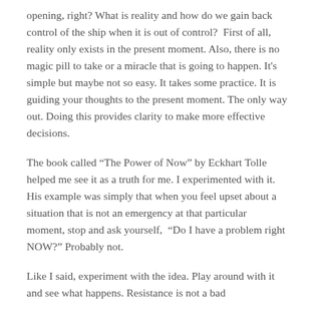opening, right? What is reality and how do we gain back control of the ship when it is out of control? First of all, reality only exists in the present moment. Also, there is no magic pill to take or a miracle that is going to happen. It's simple but maybe not so easy. It takes some practice. It is guiding your thoughts to the present moment. The only way out. Doing this provides clarity to make more effective decisions.
The book called “The Power of Now” by Eckhart Tolle helped me see it as a truth for me. I experimented with it. His example was simply that when you feel upset about a situation that is not an emergency at that particular moment, stop and ask yourself, “Do I have a problem right NOW?” Probably not.
Like I said, experiment with the idea. Play around with it and see what happens. Resistance is not a bad